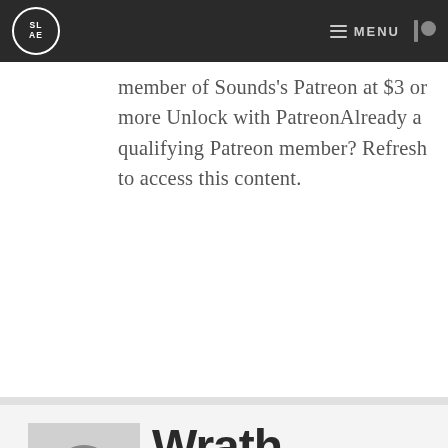SLAE | MENU
member of Sounds's Patreon at $3 or more Unlock with PatreonAlready a qualifying Patreon member? Refresh to access this content.
[Figure (photo): Black and white photo of a person appearing to scream, hands raised to their head]
Wrath
To view this content, you